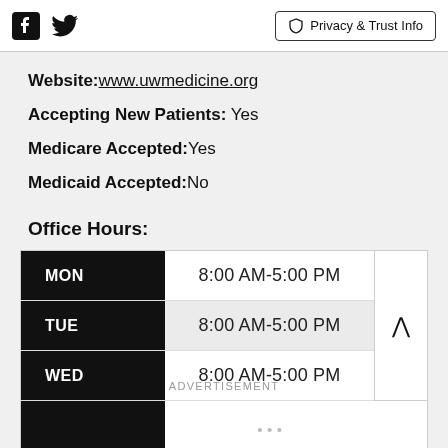Facebook Twitter | Privacy & Trust Info
Website: www.uwmedicine.org
Accepting New Patients: Yes
Medicare Accepted: Yes
Medicaid Accepted: No
Office Hours:
| Day | Hours |
| --- | --- |
| MON | 8:00 AM-5:00 PM |
| TUE | 8:00 AM-5:00 PM |
| WED | 8:00 AM-5:00 PM |
|  |  |
ADVERTISEMENT